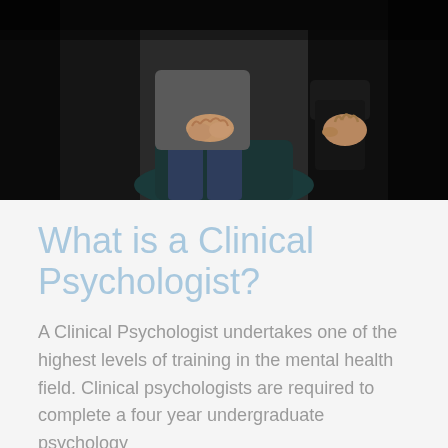[Figure (photo): Close-up photo of two people sitting across from each other in a counseling or therapy session. One person has clasped hands resting on their lap wearing jeans and a grey jacket; the other person in dark clothing has their hands visible on the right side. Dark, muted tones.]
What is a Clinical Psychologist?
A Clinical Psychologist undertakes one of the highest levels of training in the mental health field. Clinical psychologists are required to complete a four year undergraduate psychology